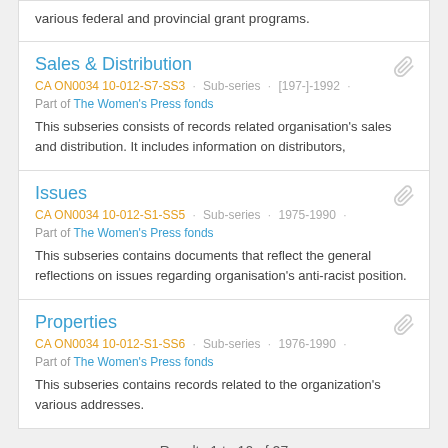various federal and provincial grant programs.
Sales & Distribution
CA ON0034 10-012-S7-SS3 · Sub-series · [197-]-1992 · Part of The Women's Press fonds
This subseries consists of records related organisation's sales and distribution. It includes information on distributors,
Issues
CA ON0034 10-012-S1-SS5 · Sub-series · 1975-1990 · Part of The Women's Press fonds
This subseries contains documents that reflect the general reflections on issues regarding organisation's anti-racist position.
Properties
CA ON0034 10-012-S1-SS6 · Sub-series · 1976-1990 · Part of The Women's Press fonds
This subseries contains records related to the organization's various addresses.
Results 1 to 10 of 27